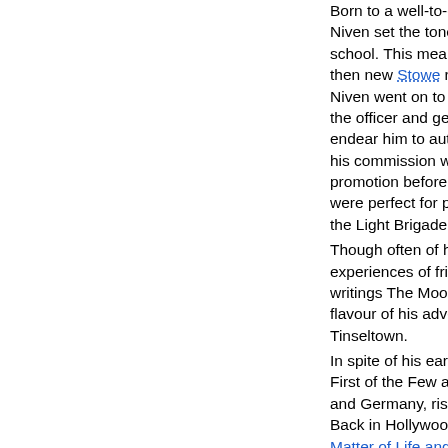Born to a well-to-do family of Scots ancestry in London, Niven set the tone for his later life by being expelled from school. This meant that (after reform school) he attended then new Stowe rather than Eton as his family had hoped. Niven went on to Sandhurst and the regular army, very much the officer and gentleman. If not a rebel he was a natural to endear him to authority, and he eventually slipped out of his commission while en route to the USA and failed of promotion before finding his way to Hollywood in 1934. He were perfect for pre-war roles in films like The Prisoner of the Light Brigade.
Though often of highly dubious veracity – he had a penchant for passing experiences of friends as if they were his own - his hilarious writings The Moon's a Balloon and Bring on the Empty Horses give flavour of his adventures, his lifestyle, and the glamour of Tinseltown.
In spite of his earlier failed military career Niven re-enlisted and made First of the Few and The Way Ahead while serving, but fought Italy and Germany, rising to the rank of Lt-Colonel when hostilities ended. Back in Hollywood he now became an A-List actor, starring in A Matter of Life and Death , Enchantment, Around the World, Scarlet Pimpernel, the original Casino Royale and of course The Prisoner won the best actor Oscar for the Terence Rattigan scripted Separate Tables with a tone that suited his style perfectly.
He was also a success in television as both actor and as a raconteur was a valued guest on talk shows like Parkinson in the eighties. Niven died of Lou Gehrig's disease in 1983.
More famous Britons here
Contributors: Do you have a site related to David Nive...